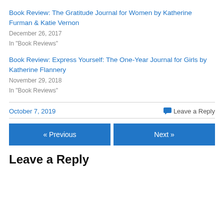Book Review: The Gratitude Journal for Women by Katherine Furman & Katie Vernon
December 26, 2017
In "Book Reviews"
Book Review: Express Yourself: The One-Year Journal for Girls by Katherine Flannery
November 29, 2018
In "Book Reviews"
October 7, 2019
Leave a Reply
« Previous
Next »
Leave a Reply